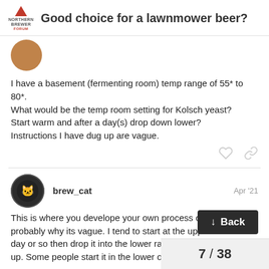Good choice for a lawnmower beer?
[Figure (other): User avatar - orange circle for first post]
I have a basement (fermenting room) temp range of 55* to 80*. What would be the temp room setting for Kolsch yeast? Start warm and after a day(s) drop down lower? Instructions I have dug up are vague.
brew_cat  Apr '21
[Figure (other): brew_cat avatar - dark circle with cat illustration]
This is where you develope your own process or style that is probably why its vague. I tend to start at the upper end for a day or so then drop it into the lower rangy then let it drift back up. Some people start it in the lower or mid range and leave it
Back
7 / 38